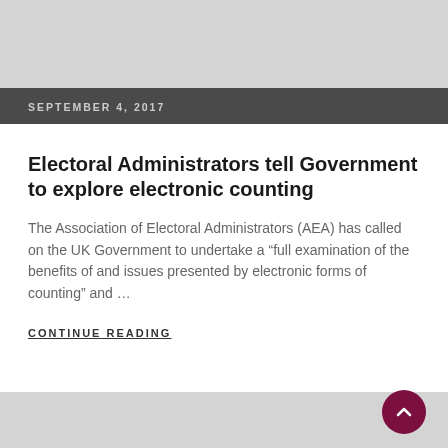SEPTEMBER 4, 2017
Electoral Administrators tell Government to explore electronic counting
The Association of Electoral Administrators (AEA) has called on the UK Government to undertake a “full examination of the benefits of and issues presented by electronic forms of counting” and …
CONTINUE READING